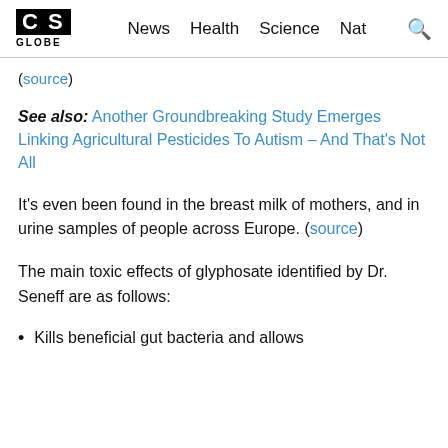CS GLOBE | News  Health  Science  Nat
(source)
See also: Another Groundbreaking Study Emerges Linking Agricultural Pesticides To Autism – And That's Not All
It's even been found in the breast milk of mothers, and in urine samples of people across Europe. (source)
The main toxic effects of glyphosate identified by Dr. Seneff are as follows:
Kills beneficial gut bacteria and allows